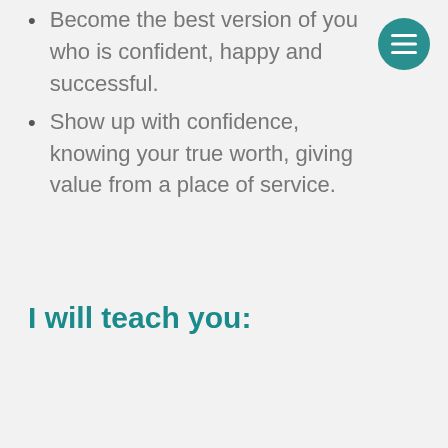Become the best version of you who is confident, happy and successful.
Show up with confidence, knowing your true worth, giving value from a place of service.
I will teach you: